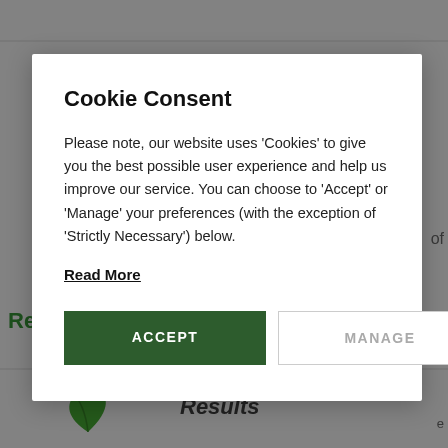Cookie Consent
Please note, our website uses 'Cookies' to give you the best possible user experience and help us improve our service. You can choose to 'Accept' or 'Manage' your preferences (with the exception of 'Strictly Necessary') below.
Read More
ACCEPT
MANAGE